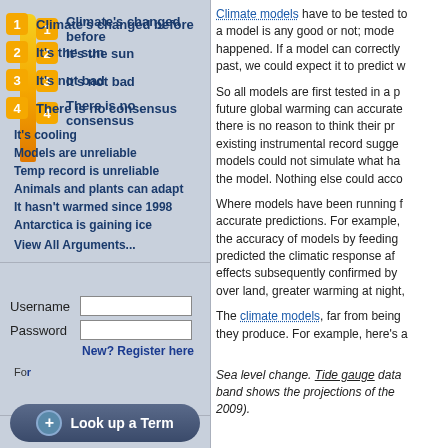1 Climate's changed before
2 It's the sun
3 It's not bad
4 There is no consensus
It's cooling
Models are unreliable
Temp record is unreliable
Animals and plants can adapt
It hasn't warmed since 1998
Antarctica is gaining ice
View All Arguments...
Climate models have to be tested to see if a model is any good or not; models are compared to what has happened. If a model can correctly simulate what happened in the past, we could expect it to predict w...
So all models are first tested in a p... future global warming can accurate... there is no reason to think their pr... existing instrumental record sugge... models could not simulate what ha... the model. Nothing else could acco...
Where models have been running f... accurate predictions. For example,... the accuracy of models by feeding... predicted the climatic response af... effects subsequently confirmed by ... over land, greater warming at night,...
The climate models, far from being... they produce. For example, here's a...
Sea level change. Tide gauge data... band shows the projections of the... 2009).